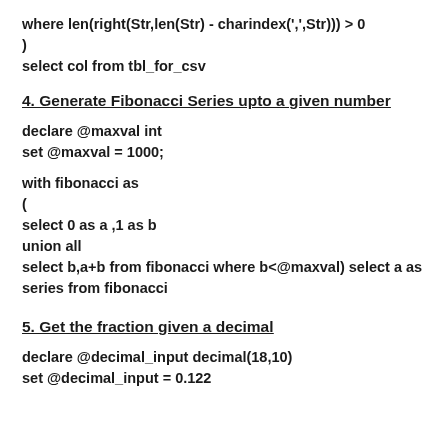where len(right(Str,len(Str) - charindex(',',Str))) > 0
)
select col from tbl_for_csv
4. Generate Fibonacci Series upto a given number
declare @maxval int
set @maxval = 1000;

with fibonacci as
(
select 0 as a ,1 as b
union all
select b,a+b from fibonacci where b<@maxval) select a as series from fibonacci
5. Get the fraction given a decimal
declare @decimal_input decimal(18,10)
set @decimal_input = 0.122